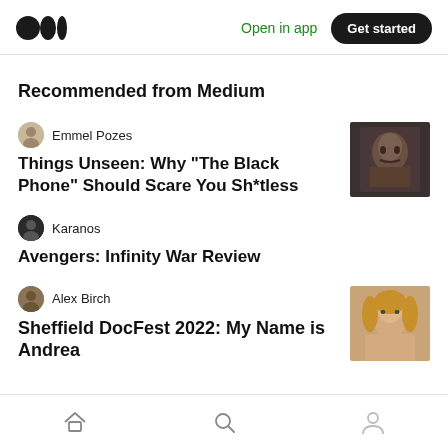Medium logo | Open in app | Get started
Recommended from Medium
Emmel Pozes
Things Unseen: Why “The Black Phone” Should Scare You Sh*tless
Karanos
Avengers: Infinity War Review
Alex Birch
Sheffield DocFest 2022: My Name is Andrea
Home | Search | Profile